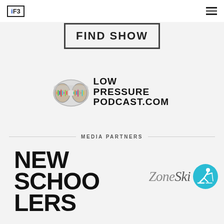iF3 [logo] | hamburger menu
[Figure (logo): Partially visible 'Find Show' banner text in bold uppercase with rectangular border]
[Figure (logo): Low Pressure Podcast.com logo with ski goggles icon on left and bold text LOW PRESSURE PODCAST.COM on right]
MEDIA PARTNERS
[Figure (logo): New Schoolers logo in large bold black uppercase stacked text: NEW SCHOO LERS]
[Figure (logo): ZoneSki logo with italic grey text and a cyan circle with skier silhouette icon]